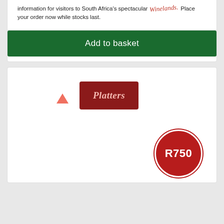information for visitors to South Africa's spectacular Winelands. Place your order now while stocks last.
[Figure (other): Green 'Add to basket' button]
[Figure (other): Platter's wine guide book product card with dark red logo banner showing cursive 'Platter's' text, a small salmon/orange triangle icon to the left, and a dark red circular price badge showing R750 in the bottom right corner]